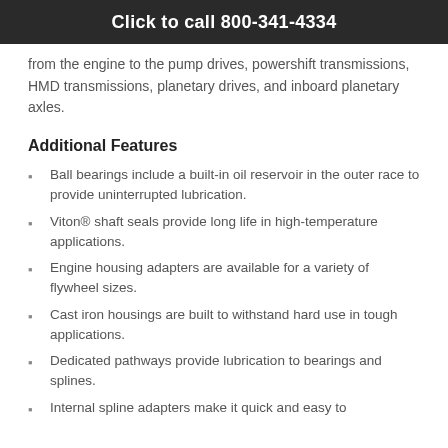Click to call 800-341-4334
from the engine to the pump drives, powershift transmissions, HMD transmissions, planetary drives, and inboard planetary axles.
Additional Features
Ball bearings include a built-in oil reservoir in the outer race to provide uninterrupted lubrication.
Viton® shaft seals provide long life in high-temperature applications.
Engine housing adapters are available for a variety of flywheel sizes.
Cast iron housings are built to withstand hard use in tough applications.
Dedicated pathways provide lubrication to bearings and splines.
Internal spline adapters make it quick and easy to